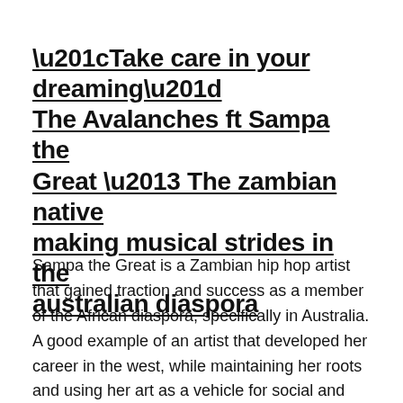“Take care in your dreaming” The Avalanches ft Sampa the Great – The zambian native making musical strides in the australian diaspora
Sampa the Great is a Zambian hip hop artist that gained traction and success as a member of the African diaspora, specifically in Australia. A good example of an artist that developed her career in the west, while maintaining her roots and using her art as a vehicle for social and political commentary. Born in